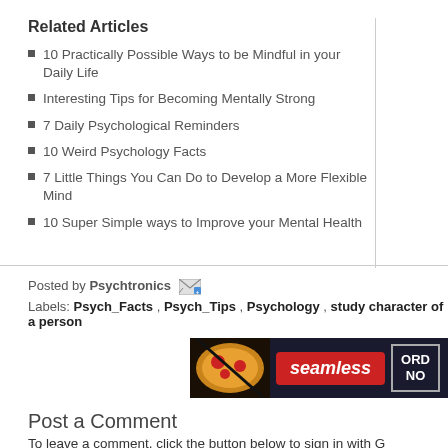Related Articles
10 Practically Possible Ways to be Mindful in your Daily Life
Interesting Tips for Becoming Mentally Strong
7 Daily Psychological Reminders
10 Weird Psychology Facts
7 Little Things You Can Do to Develop a More Flexible Mind
10 Super Simple ways to Improve your Mental Health
Posted by Psychtronics
Labels: Psych_Facts , Psych_Tips , Psychology , study character of a person
[Figure (screenshot): Seamless food delivery advertisement banner with pizza image, red seamless logo, and ORDER NOW button on dark background]
Post a Comment
To leave a comment, click the button below to sign in with G